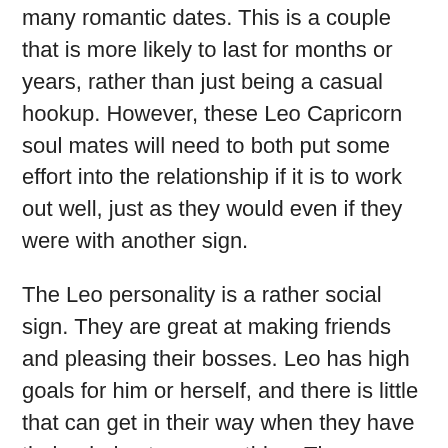many romantic dates. This is a couple that is more likely to last for months or years, rather than just being a casual hookup. However, these Leo Capricorn soul mates will need to both put some effort into the relationship if it is to work out well, just as they would even if they were with another sign.
The Leo personality is a rather social sign. They are great at making friends and pleasing their bosses. Leo has high goals for him or herself, and there is little that can get in their way when they have their mind set on something. The same thing goes for when they are romantically interested in someone. They are likely to try to get their attention and shower them in compliments to earn their desire.
advertisement
advertisement
Capricorn relationship the house…